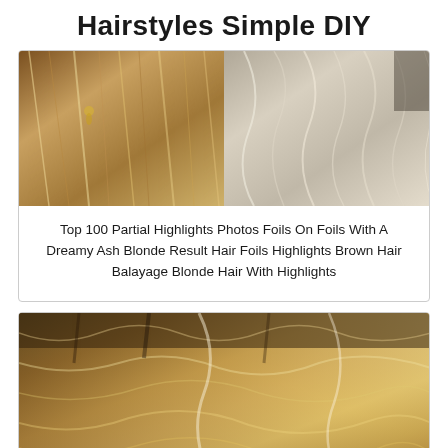Hairstyles Simple DIY
[Figure (photo): Two side-by-side photos of highlighted hair: left shows dark brown hair with golden blonde highlights and earring visible; right shows wavy ash blonde highlighted hair.]
Top 100 Partial Highlights Photos Foils On Foils With A Dreamy Ash Blonde Result Hair Foils Highlights Brown Hair Balayage Blonde Hair With Highlights
[Figure (photo): Photo of wavy hair with dark roots and blonde balayage/ombre highlights in warm golden tones.]